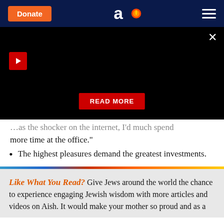Donate | Aish logo | Menu
[Figure (screenshot): Black video player area with red play button top-left, close X top-right, and red READ MORE button centered at bottom]
more time at the office."
The highest pleasures demand the greatest investments.
Like What You Read? Give Jews around the world the chance to experience engaging Jewish wisdom with more articles and videos on Aish. It would make your mother so proud and as a